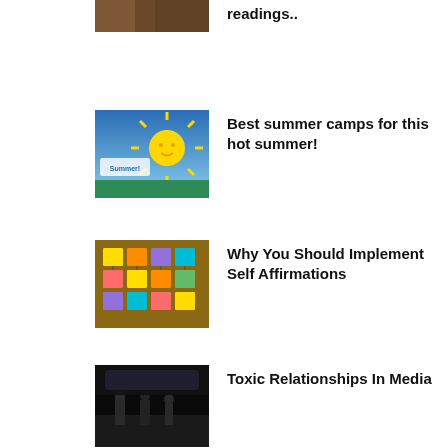[Figure (photo): Partial article thumbnail at top, partially cut off]
readings..
[Figure (photo): Summer camp thumbnail with sun and blue sky]
Best summer camps for this hot summer!
[Figure (photo): Sticky notes arranged in a pattern on a dark background]
Why You Should Implement Self Affirmations
[Figure (photo): Dark image with figures, movie/media scene]
Toxic Relationships In Media